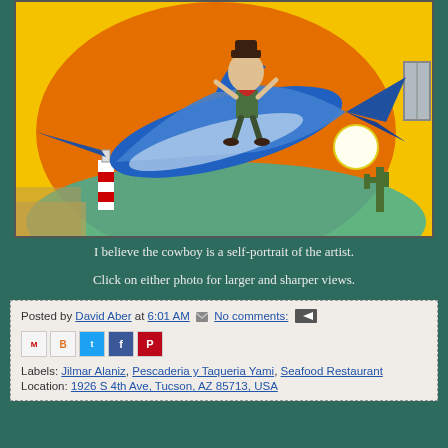[Figure (illustration): Colorful mural painting showing a cowboy riding a large blue marlin/swordfish against an orange and yellow desert sunset background, with a lighthouse on the left, a white sun, saguaro cactus on the right, and turquoise water. A window frame is visible on the far right edge.]
I believe the cowboy is a self-portrait of the artist.
Click on either photo for larger and sharper views.
Posted by David Aber at 6:01 AM No comments: [email icon]
[share icons: Gmail, Blogger, Twitter, Facebook, Pinterest]
Labels: Jilmar Alaniz, Pescaderia y Taqueria Yami, Seafood Restaurant
Location: 1926 S 4th Ave, Tucson, AZ 85713, USA